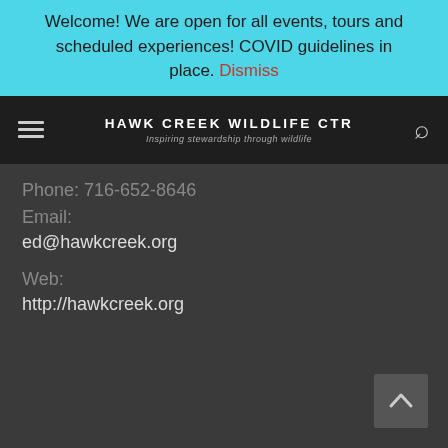Welcome! We are open for all events, tours and scheduled experiences! COVID guidelines in place. Dismiss
[Figure (screenshot): Navigation bar with hamburger menu icon on left, Hawk Creek Wildlife Ctr logo in center, and search icon on right, dark background]
Phone: 716-652-8646
Email:
ed@hawkcreek.org
Web:
http://hawkcreek.org